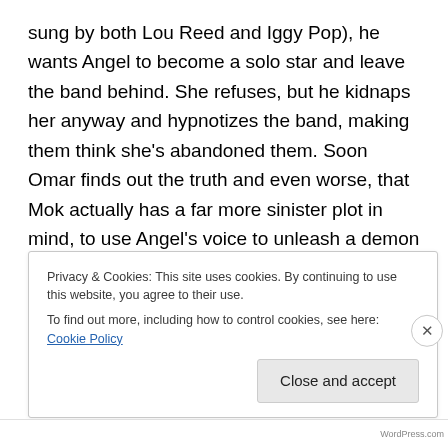sung by both Lou Reed and Iggy Pop), he wants Angel to become a solo star and leave the band behind. She refuses, but he kidnaps her anyway and hypnotizes the band, making them think she's abandoned them. Soon Omar finds out the truth and even worse, that Mok actually has a far more sinister plot in mind, to use Angel's voice to unleash a demon and now Omar and his band-mates must race to Nuke York to rescue angel and defeat Mok's plan, saving both Angel and possibly the world.
Rock & Rule is a fun animated rock and roll adventure that
Privacy & Cookies: This site uses cookies. By continuing to use this website, you agree to their use.
To find out more, including how to control cookies, see here: Cookie Policy